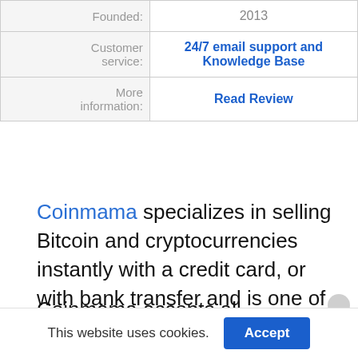| Founded: | 2013 |
| Customer service: | 24/7 email support and Knowledge Base |
| More information: | Read Review |
Coinmama specializes in selling Bitcoin and cryptocurrencies instantly with a credit card, or with bank transfer and is one of the most popular exchanges in the world.
Coinmama accepts all currencies, in particular,
This website uses cookies.